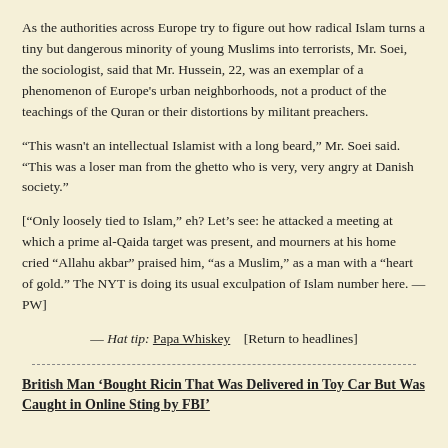As the authorities across Europe try to figure out how radical Islam turns a tiny but dangerous minority of young Muslims into terrorists, Mr. Soei, the sociologist, said that Mr. Hussein, 22, was an exemplar of a phenomenon of Europe's urban neighborhoods, not a product of the teachings of the Quran or their distortions by militant preachers.
“This wasn't an intellectual Islamist with a long beard,” Mr. Soei said. “This was a loser man from the ghetto who is very, very angry at Danish society.”
[“Only loosely tied to Islam,” eh? Let’s see: he attacked a meeting at which a prime al-Qaida target was present, and mourners at his home cried “Allahu akbar” praised him, “as a Muslim,” as a man with a “heart of gold.” The NYT is doing its usual exculpation of Islam number here. — PW]
— Hat tip: Papa Whiskey    [Return to headlines]
British Man ‘Bought Ricin That Was Delivered in Toy Car But Was Caught in Online Sting by FBI’